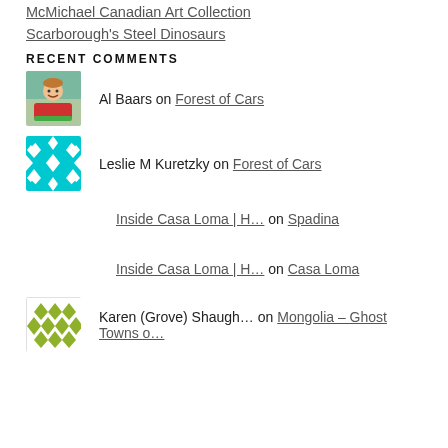McMichael Canadian Art Collection
Scarborough's Steel Dinosaurs
RECENT COMMENTS
Al Baars on Forest of Cars
Leslie M Kuretzky on Forest of Cars
Inside Casa Loma | H… on Spadina
Inside Casa Loma | H… on Casa Loma
Karen (Grove) Shaugh… on Mongolia – Ghost Towns o…